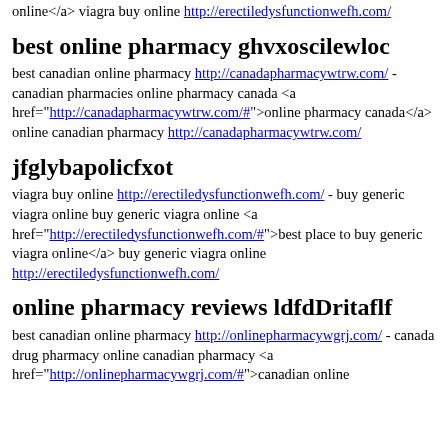online</a> viagra buy online http://erectiledysfunctionwefh.com/
best online pharmacy ghvxoscilewloc
best canadian online pharmacy http://canadapharmacywtrw.com/ - canadian pharmacies online pharmacy canada <a href="http://canadapharmacywtrw.com/#">online pharmacy canada</a> online canadian pharmacy http://canadapharmacywtrw.com/
jfglybapolicfxot
viagra buy online http://erectiledysfunctionwefh.com/ - buy generic viagra online buy generic viagra online <a href="http://erectiledysfunctionwefh.com/#">best place to buy generic viagra online</a> buy generic viagra online http://erectiledysfunctionwefh.com/
online pharmacy reviews ldfdDritaflf
best canadian online pharmacy http://onlinepharmacywgrj.com/ - canada drug pharmacy online canadian pharmacy <a href="http://onlinepharmacywgrj.com/#">canadian online